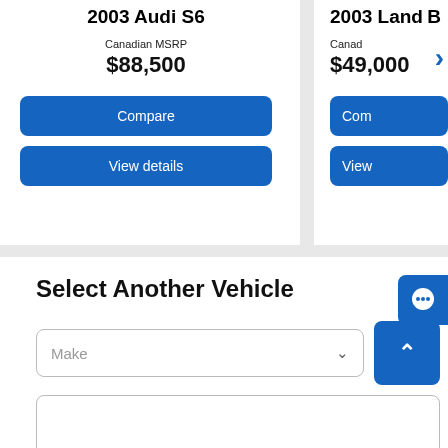2003 Audi S6
Canadian MSRP
$88,500
Compare
View details
2003 Land [Rover] (partially clipped)
Canadi... (partially clipped)
$49,000
Com... (partially clipped)
View (partially clipped)
Select Another Vehicle
Make
[Figure (screenshot): Blue chat/message button icon in top-right corner]
[Figure (screenshot): Blue up-arrow button next to Make dropdown]
Make dropdown (second)